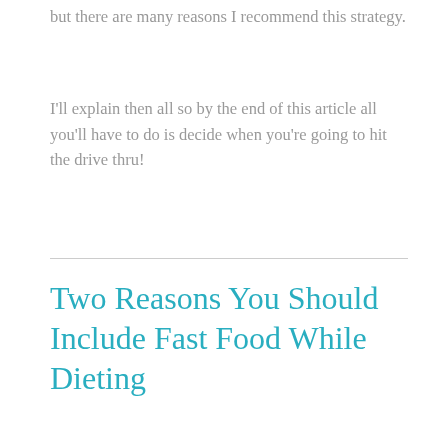but there are many reasons I recommend this strategy.
I'll explain then all so by the end of this article all you'll have to do is decide when you're going to hit the drive thru!
Two Reasons You Should Include Fast Food While Dieting